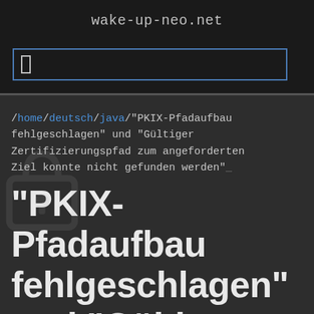wake-up-neo.net
/home/deutsch/java/"PKIX-Pfadaufbau fehlgeschlagen" und "Gültiger Zertifizierungspfad zum angeforderten Ziel konnte nicht gefunden werden"
"PKIX-Pfadaufbau fehlgeschlagen" und "Gültiger